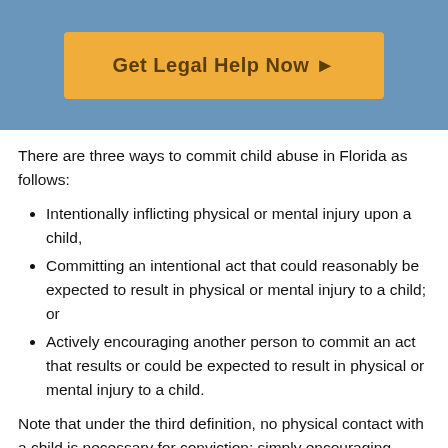[Figure (other): Blue banner with an orange button labeled 'Get Legal Help Now →']
There are three ways to commit child abuse in Florida as follows:
Intentionally inflicting physical or mental injury upon a child,
Committing an intentional act that could reasonably be expected to result in physical or mental injury to a child; or
Actively encouraging another person to commit an act that results or could be expected to result in physical or mental injury to a child.
Note that under the third definition, no physical contact with a child is necessary for conviction; simply encouraging another person to commit any act that results or could be expected to result in physical or mental injury to a child is sufficient for a charge of child